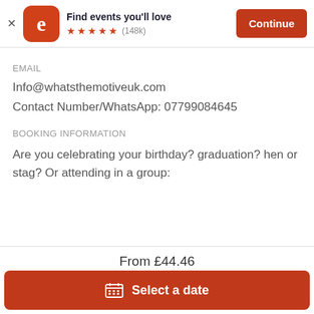[Figure (screenshot): Eventbrite app banner with logo, star rating, and Continue button]
EMAIL
Info@whatsthemotiveuk.com
Contact Number/WhatsApp: 07799084645
BOOKING INFORMATION
Are you celebrating your birthday? graduation? hen or stag? Or attending in a group:
From £44.46
Select a date